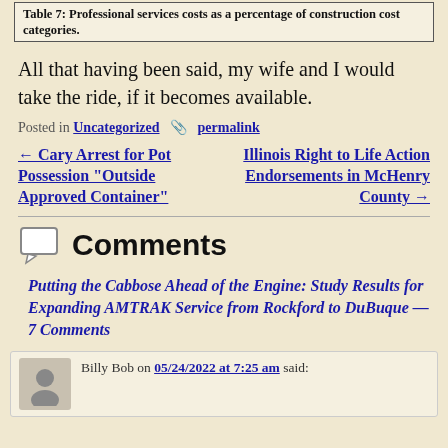Table 7: Professional services costs as a percentage of construction cost categories.
All that having been said, my wife and I would take the ride, if it becomes available.
Posted in Uncategorized permalink
← Cary Arrest for Pot Possession "Outside Approved Container"
Illinois Right to Life Action Endorsements in McHenry County →
Comments
Putting the Cabbose Ahead of the Engine: Study Results for Expanding AMTRAK Service from Rockford to DuBuque — 7 Comments
Billy Bob on 05/24/2022 at 7:25 am said: